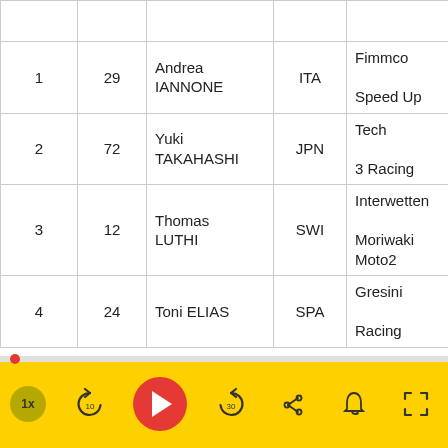| Pos | # | Name | Nat | Team | Bike |
| --- | --- | --- | --- | --- | --- |
| 1 | 29 | Andrea IANNONE | ITA | Fimmco Speed Up | Speed |
| 2 | 72 | Yuki TAKAHASHI | JPN | Tech 3 Racing | Tech 3 |
| 3 | 12 | Thomas LUTHI | SWI | Interwetten Moriwaki Moto2 | Moriwa |
| 4 | 24 | Toni ELIAS | SPA | Gresini Racing | Moriwa |